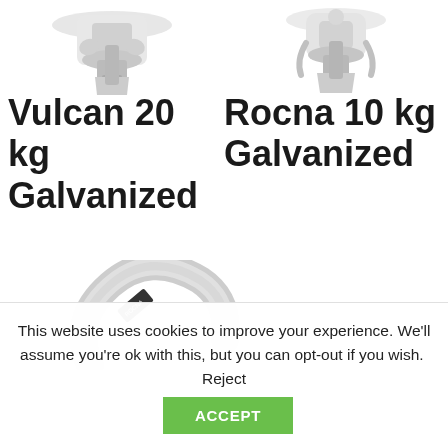[Figure (photo): Partial image of Vulcan 20 kg Galvanized anchor product, cropped at top]
[Figure (photo): Partial image of Rocna 10 kg Galvanized anchor product, cropped at top]
Vulcan 20 kg Galvanized
Rocna 10 kg Galvanized
[Figure (photo): Partial image of a curved anchor shackle/ring in chrome/silver, cropped at bottom]
This website uses cookies to improve your experience. We'll assume you're ok with this, but you can opt-out if you wish.  Reject   ACCEPT